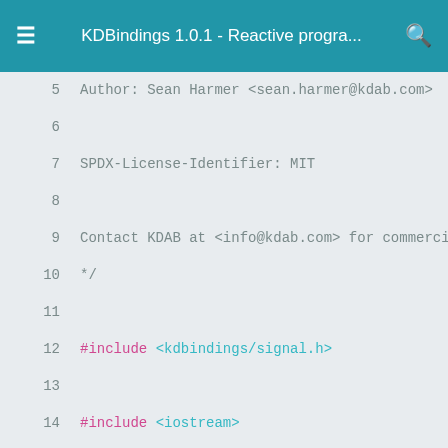KDBindings 1.0.1 - Reactive progra...
5    Author: Sean Harmer <sean.harmer@kdab.com>
6
7    SPDX-License-Identifier: MIT
8
9    Contact KDAB at <info@kdab.com> for commercial
10   */
11
12   #include <kdbindings/signal.h>
13
14   #include <iostream>
15   #include <string>
16
17   using namespace KDBindings;
18
19   class Person
20   {
21   public:
22       Person(std::string const &name)
23           : m_name(name)
24       {
25       }